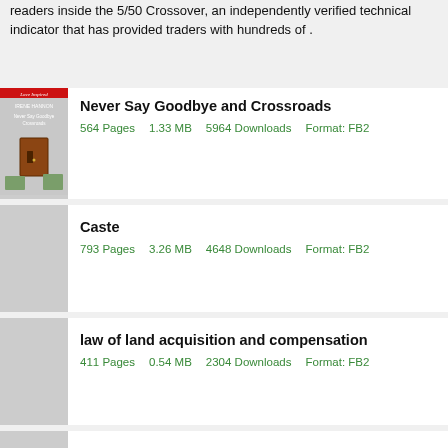readers inside the 5/50 Crossover, an independently verified technical indicator that has provided traders with hundreds of .
Never Say Goodbye and Crossroads
564 Pages    1.33 MB    5964 Downloads    Format: FB2
Caste
793 Pages    3.26 MB    4648 Downloads    Format: FB2
law of land acquisition and compensation
411 Pages    0.54 MB    2304 Downloads    Format: FB2